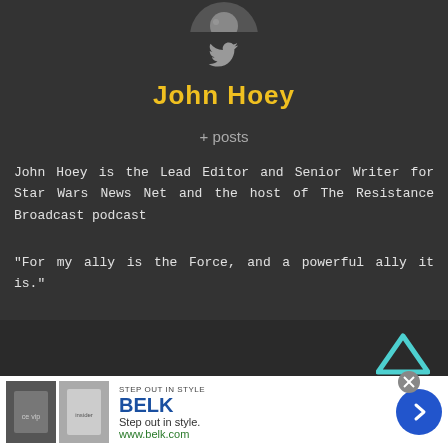[Figure (photo): Profile photo partially visible at top, circular crop]
[Figure (illustration): Twitter bird icon in grey]
John Hoey
+ posts
John Hoey is the Lead Editor and Senior Writer for Star Wars News Net and the host of The Resistance Broadcast podcast
"For my ally is the Force, and a powerful ally it is."
[Figure (illustration): Up arrow chevron icon in teal/cyan color]
[Figure (screenshot): Advertisement for Belk department store with two clothing images, BELK brand name, slogan Step out in style, www.belk.com, and a blue circular arrow button]